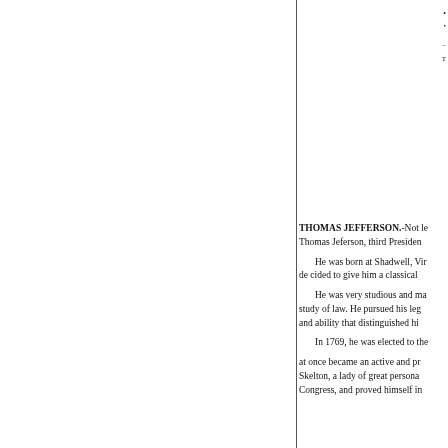THOMAS JEFFERSON.-Not le Thomas Jeferson, third Presiden
He was born at Shadwell, Vir de cided to give him a classical
He was very studious and ma study of law. He pursued his leg and ability that distinguished hi
In 1769, he was elected to the at once became an active and pr Skelton, a lady of great persona Congress, and proved himself in